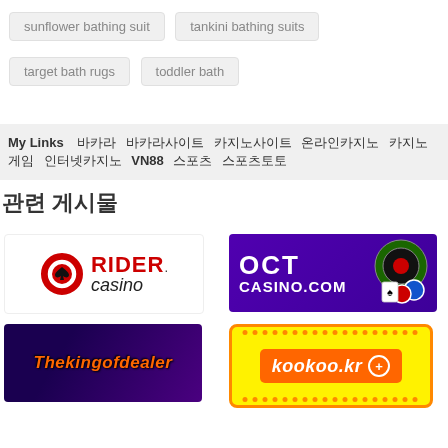sunflower bathing suit
tankini bathing suits
target bath rugs
toddler bath
My Links   바카라   바카라사이트   카지노사이트   온라인카지노   카지노게임   인터넷카지노   VN88   스포츠   스포츠토토
관련 게시물
[Figure (logo): Rider Casino logo with red casino chip and red/black text]
[Figure (logo): OCT Casino.com banner on purple background with casino imagery]
[Figure (logo): Thekingofdealer banner on dark purple background with orange italic text]
[Figure (logo): kookoo.kr banner on yellow background with orange border and dots]